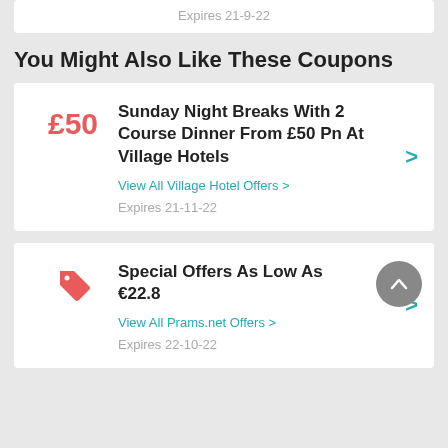Expires 21-9-22
You Might Also Like These Coupons
£50 | Sunday Night Breaks With 2 Course Dinner From £50 Pn At Village Hotels | View All Village Hotel Offers > | Expires 21-11-22
Special Offers As Low As €22.8 | View All Prams.net Offers > | Expires 22-10-22